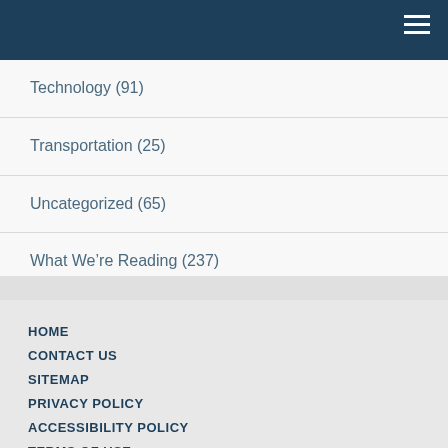Navigation bar with hamburger menu
Technology (91)
Transportation (25)
Uncategorized (65)
What We're Reading (237)
White House Conference On Aging (WHCOA) (5)
HOME
CONTACT US
SITEMAP
PRIVACY POLICY
ACCESSIBILITY POLICY
TERMS OF USE